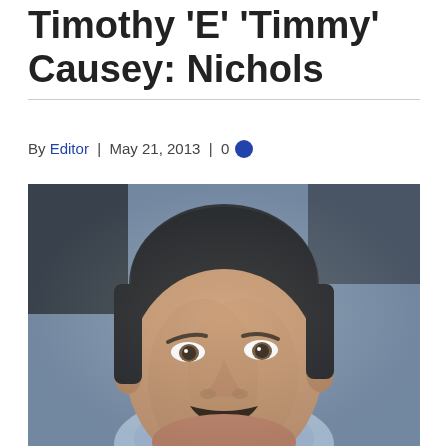Timothy 'E' 'Timmy' Causey: Nichols
By Editor | May 21, 2013 | 0
[Figure (photo): Portrait photo of a middle-aged man with dark hair and a mustache, wearing a light blue shirt, photographed against a grey-blue background in a formal/professional style.]